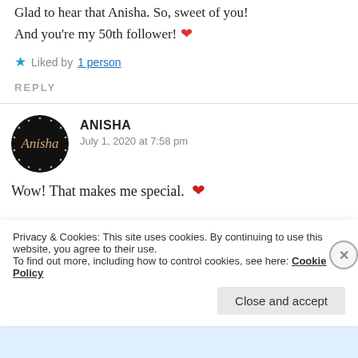Glad to hear that Anisha. So, sweet of you! And you're my 50th follower! ❤️
★ Liked by 1 person
REPLY
[Figure (illustration): Circular avatar with black background and white dot border pattern, with 'Anisha' written in cursive golden/tan text]
ANISHA
July 1, 2020 at 7:58 pm
Wow! That makes me special. ❤️
Privacy & Cookies: This site uses cookies. By continuing to use this website, you agree to their use.
To find out more, including how to control cookies, see here: Cookie Policy
Close and accept